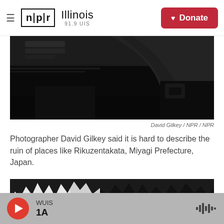NPR Illinois 91.9 UIS — Donate
[Figure (photo): Black and white photograph showing industrial or damaged structural elements, dark tones, appears to show debris or machinery]
David Gilkey / NPR / NPR
Photographer David Gilkey said it is hard to describe the ruin of places like Rikuzentakata, Miyagi Prefecture, Japan.
[Figure (photo): Black and white photograph showing a person wearing a hard hat reading documents amid darkened surroundings with jagged tree silhouettes overhead]
WUIS 1A